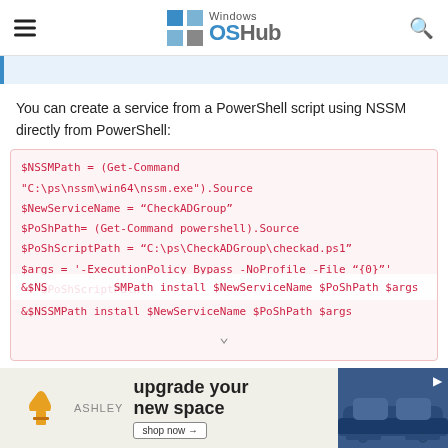Windows OSHub
You can create a service from a PowerShell script using NSSM directly from PowerShell:
$NSSMPath = (Get-Command "C:\ps\nssm\win64\nssm.exe").Source
$NewServiceName = “CheckADGroup”
$PoShPath= (Get-Command powershell).Source
$PoShScriptPath = “C:\ps\CheckADGroup\checkad.ps1”
$args = '-ExecutionPolicy Bypass -NoProfile -File "{0}"'
-f $PoShScriptPath
&$NSSMPath install $NewServiceName $PoShPath $args
[Figure (screenshot): Ashley Furniture advertisement banner: upgrade your new space, shop now button, sofa image]